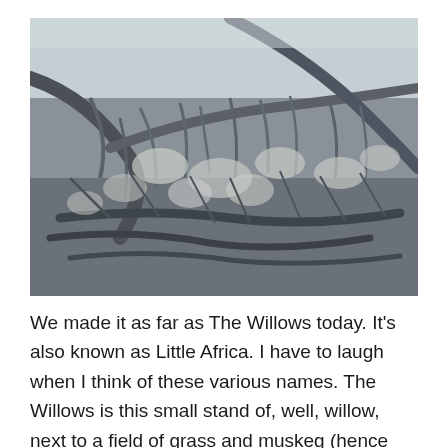[Figure (photo): Close-up photograph of a tangled mass of willow branches and twigs covered in grey lichen or frost, with bare woody debris filling the frame. The image is desaturated with bluish-grey tones.]
We made it as far as The Willows today. It's also known as Little Africa. I have to laugh when I think of these various names. The Willows is this small stand of, well, willow, next to a field of grass and muskeg (hence Little Africa). All